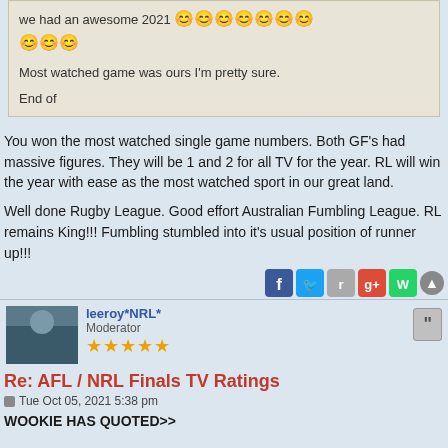we had an awesome 2021 [emojis]
Most watched game was ours I'm pretty sure.
End of
You won the most watched single game numbers. Both GF's had massive figures. They will be 1 and 2 for all TV for the year. RL will win the year with ease as the most watched sport in our great land.

Well done Rugby League. Good effort Australian Fumbling League. RL remains King!!! Fumbling stumbled into it's usual position of runner up!!!
[Figure (infographic): Social share icons: Facebook, Twitter, Reddit, Google+, WhatsApp, and scroll-to-top button]
leeroy*NRL*
Moderator
★★★★★
Re: AFL / NRL Finals TV Ratings
Tue Oct 05, 2021 5:38 pm
WOOKIE HAS QUOTED>>